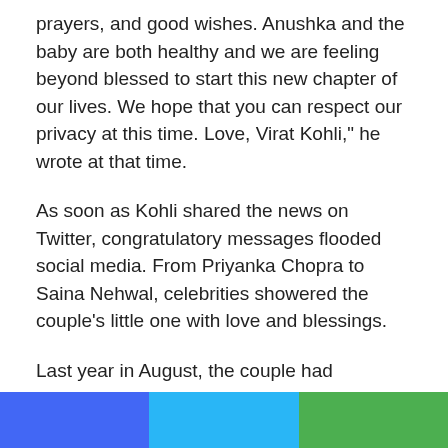prayers, and good wishes. Anushka and the baby are both healthy and we are feeling beyond blessed to start this new chapter of our lives. We hope that you can respect our privacy at this time. Love, Virat Kohli," he wrote at that time.
As soon as Kohli shared the news on Twitter, congratulatory messages flooded social media. From Priyanka Chopra to Saina Nehwal, celebrities showered the couple's little one with love and blessings.
Last year in August, the couple had announced that they were expecting their first child in January 2021. The duo got married in a fairytale wedding which was only attended by the couple's family and friends on December 11 in 2017. Post their nuptials in Italy, the couple hosted grand receptions in Delhi and Mumbai.